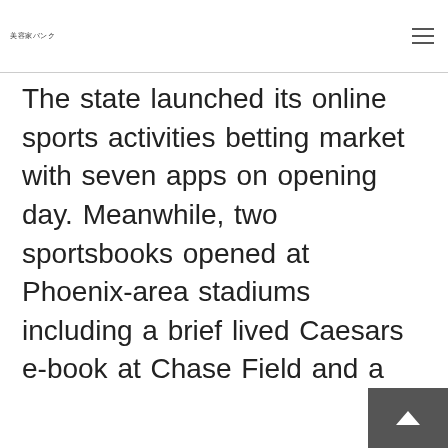美容家バンク
The state launched its online sports activities betting market with seven apps on opening day. Meanwhile, two sportsbooks opened at Phoenix-area stadiums including a brief lived Caesars e-book at Chase Field and a ready-to-go FanDuel guide at Footprint Center. Bitcoin and different cryptocurrencies supplied as funding choices. Legal online sports activities betting websites stick with the basics similar to bank cards and PayPal. You don't have to hunt too far to find